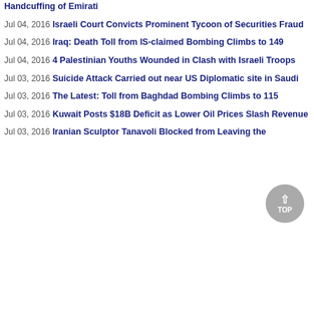Handcuffing of Emirati
Jul 04, 2016 Israeli Court Convicts Prominent Tycoon of Securities Fraud
Jul 04, 2016 Iraq: Death Toll from IS-claimed Bombing Climbs to 149
Jul 04, 2016 4 Palestinian Youths Wounded in Clash with Israeli Troops
Jul 03, 2016 Suicide Attack Carried out near US Diplomatic site in Saudi
Jul 03, 2016 The Latest: Toll from Baghdad Bombing Climbs to 115
Jul 03, 2016 Kuwait Posts $18B Deficit as Lower Oil Prices Slash Revenue
Jul 03, 2016 Iranian Sculptor Tanavoli Blocked from Leaving the